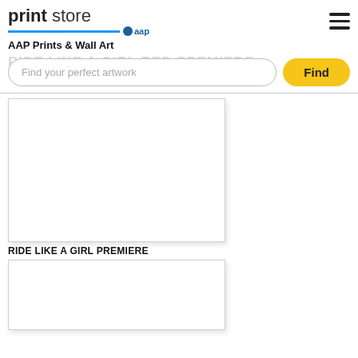[Figure (logo): Print Store AAP logo with blue underline and AAP badge]
AAP Prints & Wall Art
RIDE LIKE A GIRL RED PREMIERE (faded background text)
Find your perfect artwork (search input placeholder)
Find (search button)
[Figure (photo): Large white/blank artwork image for RIDE LIKE A GIRL PREMIERE]
RIDE LIKE A GIRL PREMIERE
[Figure (photo): Second artwork image, partially visible at bottom of page]